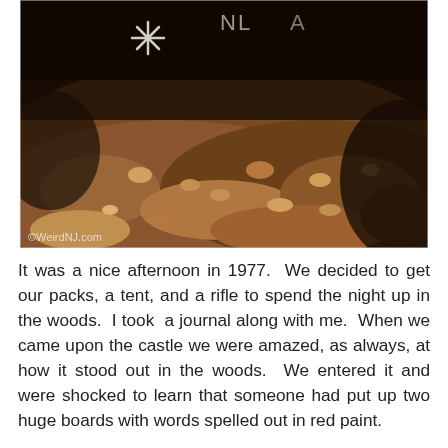[Figure (photo): Outdoor photo showing rocks, soil and gravel ground with graffiti/symbols visible at the top including a star-like symbol and partial text. Watermark reads ©WeirdNJ.com at bottom left. Dark, moody tones with reddish-brown earth.]
It was a nice afternoon in 1977.  We decided to get our packs, a tent, and a rifle to spend the night up in the woods.  I took  a journal along with me.  When we came upon the castle we were amazed, as always, at how it stood out in the woods.  We entered it and were shocked to learn that someone had put up two huge boards with words spelled out in red paint.